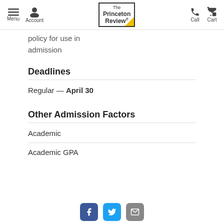Menu | Account | The Princeton Review | Call | Cart
policy for use in admission
Deadlines
Regular — April 30
Other Admission Factors
Academic
Academic GPA
Facebook | Twitter | Email